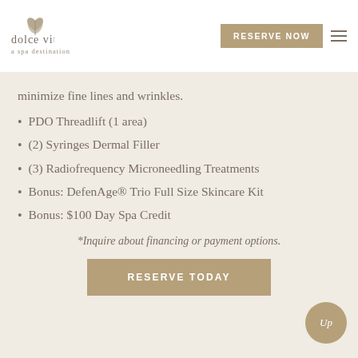[Figure (logo): Dolce Vita spa logo with leaf/flower icon, text 'dolce vita' and 'a spa destination']
minimize fine lines and wrinkles.
PDO Threadlift (1 area)
(2) Syringes Dermal Filler
(3) Radiofrequency Microneedling Treatments
Bonus: DefenAge® Trio Full Size Skincare Kit
Bonus: $100 Day Spa Credit
*Inquire about financing or payment options.
RESERVE TODAY
Up